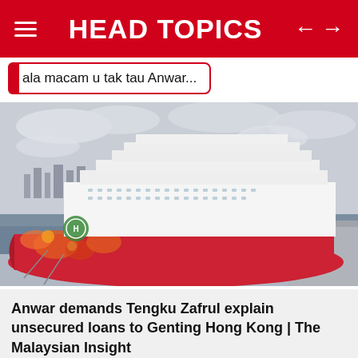HEAD TOPICS
ala macam u tak tau Anwar...
[Figure (photo): A large cruise ship with colorful floral bow art docked at a pier, overcast sky and city skyline in background.]
Anwar demands Tengku Zafrul explain unsecured loans to Genting Hong Kong | The Malaysian Insight